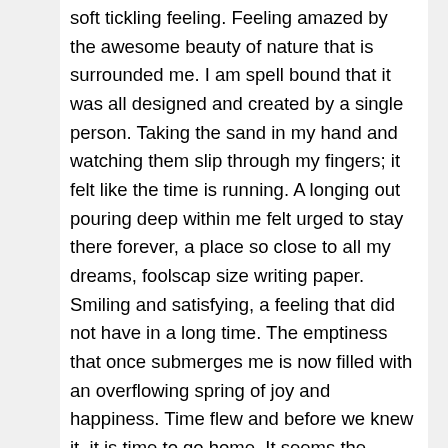soft tickling feeling. Feeling amazed by the awesome beauty of nature that is surrounded me. I am spell bound that it was all designed and created by a single person. Taking the sand in my hand and watching them slip through my fingers; it felt like the time is running. A longing out pouring deep within me felt urged to stay there forever, a place so close to all my dreams, foolscap size writing paper. Smiling and satisfying, a feeling that did not have in a long time. The emptiness that once submerges me is now filled with an overflowing spring of joy and happiness. Time flew and before we knew it, it is time to go home. It seems the pressure of the ticking of time did not apply to this incredible place.https://quitoscana.it/2021/12/20/what-is-the-purpose-of-evidence-in-an-argumentative-essay-what-is-the-purpose-of-lyric-essay/